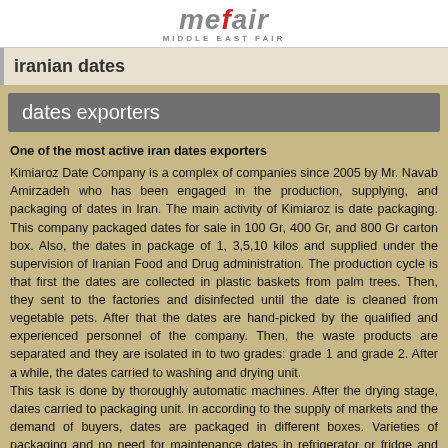mefair MIDDLE EAST FAIR
iranian dates
dates exporters
One of the most active iran dates exporters
Kimiaroz Date Company is a complex of companies since 2005 by Mr. Navab Amirzadeh who has been engaged in the production, supplying, and packaging of dates in Iran. The main activity of Kimiaroz is date packaging. This company packaged dates for sale in 100 Gr, 400 Gr, and 800 Gr carton box. Also, the dates in package of 1, 3,5,10 kilos and supplied under the supervision of Iranian Food and Drug administration. The production cycle is that first the dates are collected in plastic baskets from palm trees. Then, they sent to the factories and disinfected until the date is cleaned from vegetable pets. After that the dates are hand-picked by the qualified and experienced personnel of the company. Then, the waste products are separated and they are isolated in to two grades: grade 1 and grade 2. After a while, the dates carried to washing and drying unit.
This task is done by thoroughly automatic machines. After the drying stage, dates carried to packaging unit. In according to the supply of markets and the demand of buyers, dates are packaged in different boxes. Varieties of packaging and no need for maintenance dates in refrigerator or fridge and suitable price resulted in attractive products in hypermarkets, supermarkets, and also consumers. Kimiaroz Date Company started exporting dates in to different countries since 2010 such as Australia, France, Germany, America, and India. Also, it always attracts foreign customers for qualified products. Another company of Mr. Navab Amirzadeh is